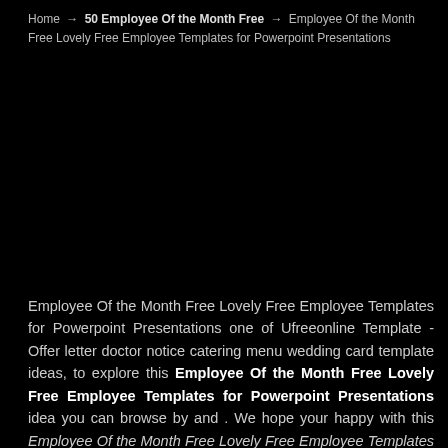Home → 50 Employee Of the Month Free → Employee Of the Month Free Lovely Free Employee Templates for Powerpoint Presentations
Employee Of the Month Free Lovely Free Employee Templates for Powerpoint Presentations one of Ufreeonline Template - Offer letter doctor notice catering menu wedding card template ideas, to explore this Employee Of the Month Free Lovely Free Employee Templates for Powerpoint Presentations idea you can browse by and . We hope your happy with this Employee Of the Month Free Lovely Free Employee Templates for Powerpoint Presentations idea. You can download and please share this Employee Of the Month Free Lovely Free